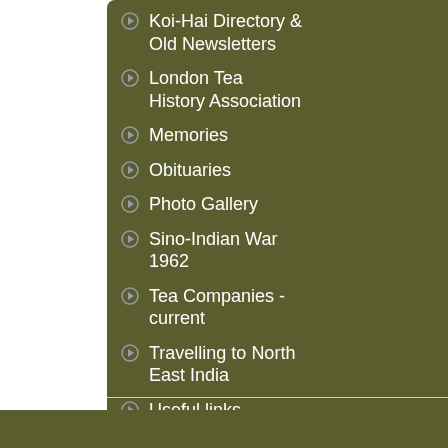Koi-Hai Directory & Old Newsletters
London Tea History Association
Memories
Obituaries
Photo Gallery
Sino-Indian War 1962
Tea Companies - current
Travelling to North East India
Useful links
Contact us